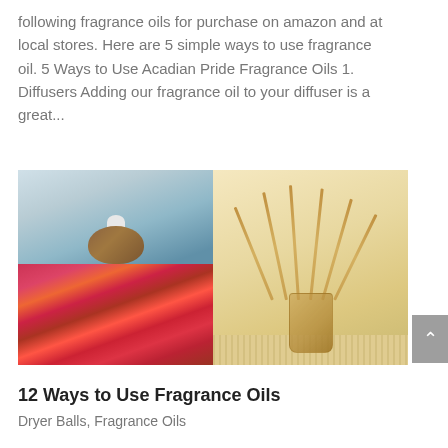following fragrance oils for purchase on amazon and at local stores. Here are 5 simple ways to use fragrance oil. 5 Ways to Use Acadian Pride Fragrance Oils 1. Diffusers Adding our fragrance oil to your diffuser is a great...
[Figure (photo): Two-panel photo collage: left panel shows an ultrasonic diffuser with wooden base on top and dried rose petals and flowers below; right panel shows a reed diffuser in a glass bottle with wooden sticks on a woven mat background.]
12 Ways to Use Fragrance Oils
Dryer Balls, Fragrance Oils